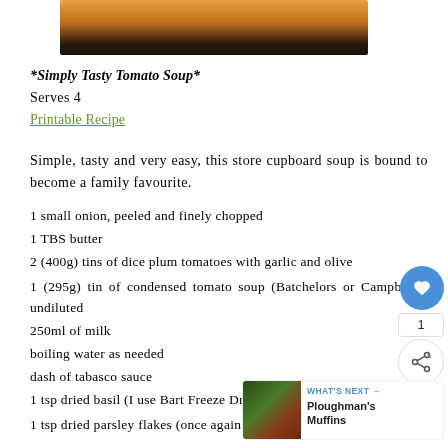[Figure (photo): Close-up photo of tomato soup in a bowl, showing orange-red soup surface with dark edges]
*Simply Tasty Tomato Soup*
Serves 4
Printable Recipe
Simple, tasty and very easy, this store cupboard soup is bound to become a family favourite.
1 small onion, peeled and finely chopped
1 TBS butter
2 (400g) tins of dice plum tomatoes with garlic and olive
1 (295g) tin of condensed tomato soup (Batchelors or Campbells) undiluted
250ml of milk
boiling water as needed
dash of tabasco sauce
1 tsp dried basil (I use Bart Freeze Dried)
1 tsp dried parsley flakes (once again I use Bart Freeze Dried)